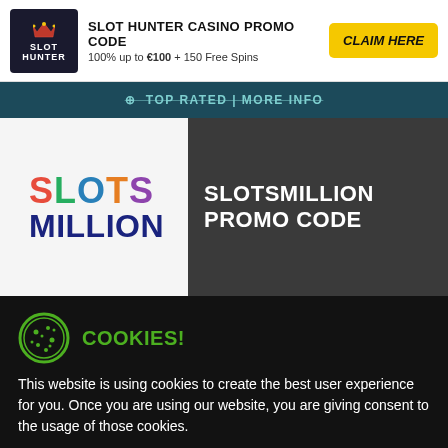[Figure (logo): Slot Hunter Casino logo — dark background with crown icon and SLOT HUNTER text]
SLOT HUNTER CASINO PROMO CODE
100% up to €100 + 150 Free Spins
CLAIM HERE
TOP RATED | MORE INFO
[Figure (logo): SlotsMillion logo — SLOTS in multicolor (red S, green L, blue O, orange T, purple S), MILLION in dark blue]
SLOTSMILLION PROMO CODE
COOKIES!
100% up to
This website is using cookies to create the best user experience for you. Once you are using our website, you are giving consent to the usage of those cookies.
OK!